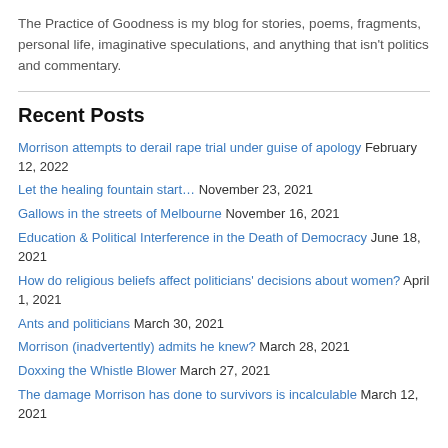The Practice of Goodness is my blog for stories, poems, fragments, personal life, imaginative speculations, and anything that isn't politics and commentary.
Recent Posts
Morrison attempts to derail rape trial under guise of apology February 12, 2022
Let the healing fountain start… November 23, 2021
Gallows in the streets of Melbourne November 16, 2021
Education & Political Interference in the Death of Democracy June 18, 2021
How do religious beliefs affect politicians' decisions about women? April 1, 2021
Ants and politicians March 30, 2021
Morrison (inadvertently) admits he knew? March 28, 2021
Doxxing the Whistle Blower March 27, 2021
The damage Morrison has done to survivors is incalculable March 12, 2021